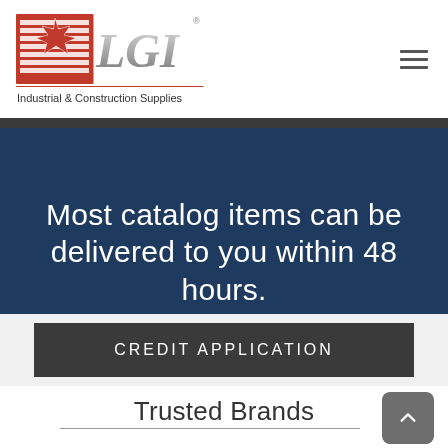[Figure (logo): LGI Industrial & Construction Supplies logo with Canadian maple leaf]
Most catalog items can be delivered to you within 48 hours.
CREDIT APPLICATION
Trusted Brands